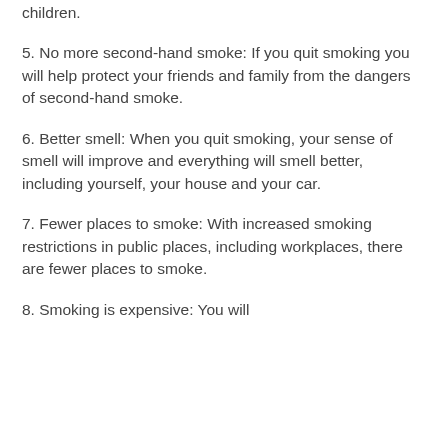children.
5. No more second-hand smoke: If you quit smoking you will help protect your friends and family from the dangers of second-hand smoke.
6. Better smell: When you quit smoking, your sense of smell will improve and everything will smell better, including yourself, your house and your car.
7. Fewer places to smoke: With increased smoking restrictions in public places, including workplaces, there are fewer places to smoke.
8. Smoking is expensive: You will